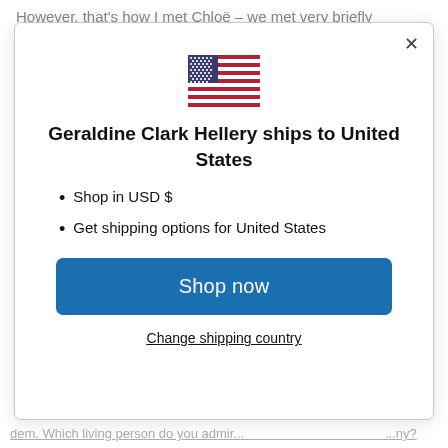However, that's how I met Chloë – we met very briefly
[Figure (illustration): US flag emoji/icon displayed inside modal dialog]
Geraldine Clark Hellery ships to United States
Shop in USD $
Get shipping options for United States
Shop now
Change shipping country
dem. Which living person do you admir... ...ny?